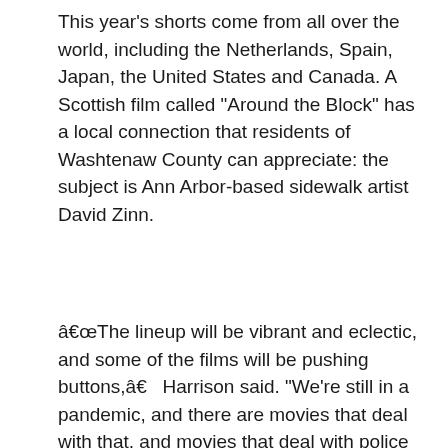This year's shorts come from all over the world, including the Netherlands, Spain, Japan, the United States and Canada. A Scottish film called “Around the Block” has a local connection that residents of Washtenaw County can appreciate: the subject is Ann Arbor-based sidewalk artist David Zinn.
“The lineup will be vibrant and eclectic, and some of the films will be pushing buttons,” Harrison said. “We’re still in a pandemic, and there are movies that deal with that, and movies that deal with police violence from a young black man’s perspective. I think there will be laughter and laughter. crying and everything. ”
The 2021 IFFY Drive-In begins at 9:30 p.m. on June 24 at the Ypsi downtown parking lot on South Huron Street, between Washington Street and South Huron Street, just south of Michigan Avenue. The film festival is free, but RSVPs on IFFY Facebook event page are encouraged. If someone can’t snag a parking spot, Harrison says he’s invited to bring a chair or blanket